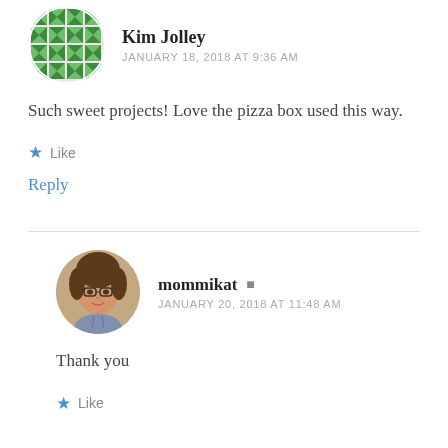[Figure (illustration): Green geometric quilt pattern avatar for Kim Jolley]
Kim Jolley
JANUARY 18, 2018 AT 9:36 AM
Such sweet projects! Love the pizza box used this way.
★ Like
Reply
[Figure (photo): Photo of mommikat, a woman with glasses and brown hair]
mommikat
JANUARY 20, 2018 AT 11:48 AM
Thank you
★ Like